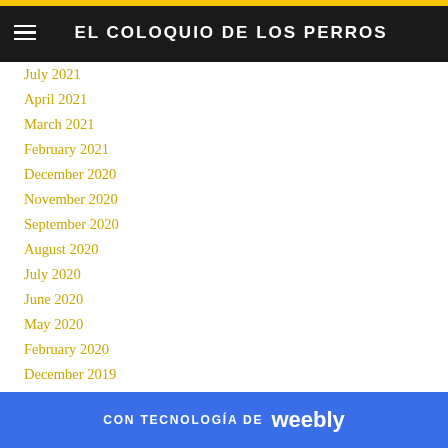EL COLOQUIO DE LOS PERROS
April 2021
March 2021
February 2021
December 2020
November 2020
September 2020
August 2020
July 2020
June 2020
May 2020
February 2020
December 2019
September 2019
August 2019
CON TECNOLOGÍA DE weebly